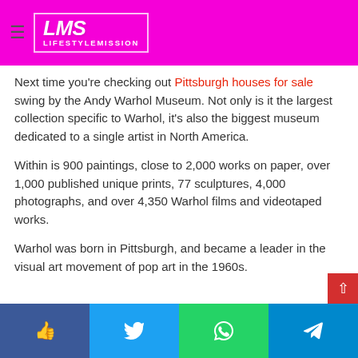LMS LIFESTYLEMISSION
Next time you're checking out Pittsburgh houses for sale swing by the Andy Warhol Museum. Not only is it the largest collection specific to Warhol, it's also the biggest museum dedicated to a single artist in North America.
Within is 900 paintings, close to 2,000 works on paper, over 1,000 published unique prints, 77 sculptures, 4,000 photographs, and over 4,350 Warhol films and videotaped works.
Warhol was born in Pittsburgh, and became a leader in the visual art movement of pop art in the 1960s.
Where Michael Scott of The
Facebook | Twitter | WhatsApp | Telegram